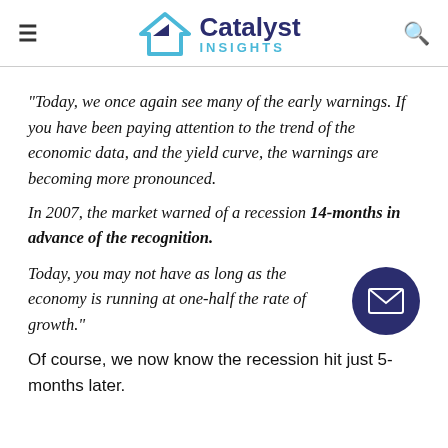Catalyst Insights
“Today, we once again see many of the early warnings. If you have been paying attention to the trend of the economic data, and the yield curve, the warnings are becoming more pronounced.
In 2007, the market warned of a recession 14-months in advance of the recognition.
Today, you may not have as long as the economy is running at one-half the rate of growth.”
Of course, we now know the recession hit just 5-months later.